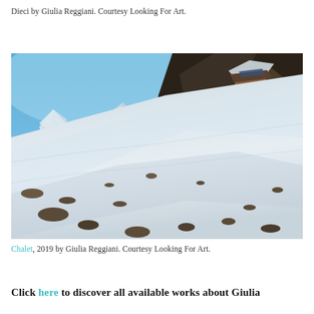[Figure (photo): Partial top edge of a dark/grey photo (Dieci artwork by Giulia Reggiani)]
Dieci by Giulia Reggiani. Courtesy Looking For Art.
[Figure (photo): Mountain landscape with snow-covered rocky slopes, a wooden chalet/hut visible on the right side, set against a clear blue sky. Photo titled Chalet, 2019 by Giulia Reggiani.]
Chalet, 2019 by Giulia Reggiani. Courtesy Looking For Art.
Click here to discover all available works about Giulia